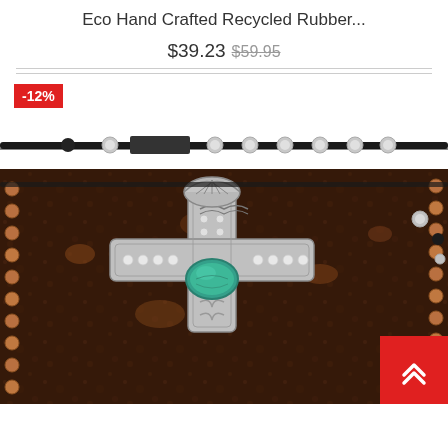Eco Hand Crafted Recycled Rubber...
$39.23 $59.95
[Figure (photo): Close-up product photo of a wide leather cuff bracelet with a decorative silver cross adorned with a turquoise stone and crystal rhinestones, copper studs along the edge, and adjustable black cord with silver and black beads. A red badge shows -12% discount.]